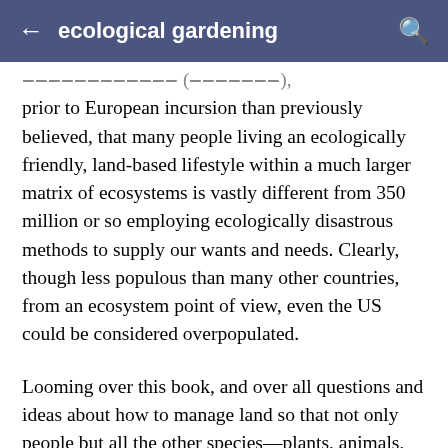ecological gardening
prior to European incursion than previously believed, that many people living an ecologically friendly, land-based lifestyle within a much larger matrix of ecosystems is vastly different from 350 million or so employing ecologically disastrous methods to supply our wants and needs. Clearly, though less populous than many other countries, from an ecosystem point of view, even the US could be considered overpopulated.
Looming over this book, and over all questions and ideas about how to manage land so that not only people but all the other species—plants, animals, lichens, fungi, and all the denizens of the several microbiomes—can thrive, is the overwhelming fact